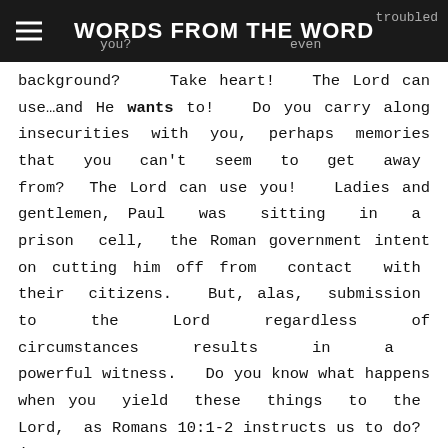WORDS FROM THE WORD
background?   Take heart!   The Lord can use…and He wants to!   Do you carry along insecurities  with  you,  perhaps  memories that  you  can't  seem  to  get  away  from?  The Lord can use you!   Ladies and gentlemen, Paul  was  sitting  in  a  prison  cell,  the Roman government intent on cutting him off from  contact  with  their  citizens.   But, alas,  submission  to  the  Lord  regardless  of circumstances    results    in    a    powerful witness.   Do you know what happens when you  yield  these  things  to  the  Lord,  as Romans 10:1-2 instructs us to do?  just